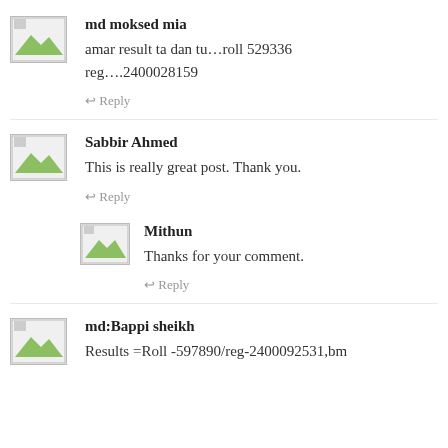md moksed mia
amar result ta dan tu…roll 529336 reg….2400028159
Reply
Sabbir Ahmed
This is really great post. Thank you.
Reply
Mithun
Thanks for your comment.
Reply
md:Bappi sheikh
Results =Roll -597890/reg-2400092531,bm